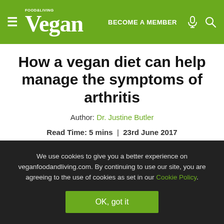Vegan Food & Living — BECOME A MEMBER
How a vegan diet can help manage the symptoms of arthritis
Author: Dr. Justine Butler
Read Time: 5 mins  |  23rd June 2017
[Figure (other): Social share icons: Pinterest, Twitter, Facebook, Share, Print]
We use cookies to give you a better experience on veganfoodandliving.com. By continuing to use our site, you are agreeing to the use of cookies as set in our Cookie Policy.
OK, got it